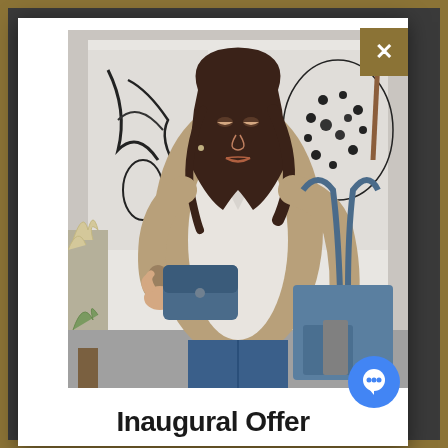[Figure (photo): A woman with long dark hair wearing a beige jacket, white top, and blue jeans, holding a blue leather tote bag in one hand and a blue leather wallet/clutch in the other hand. She is looking down at the wallet. The background shows a modern interior with white walls and abstract artwork.]
Inaugural Offer